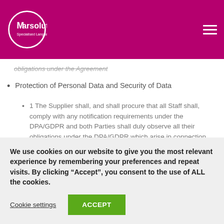Marsolutions Specialised Language Services
obligations under the Agreement
Protection of Personal Data and Security of Data
1 The Supplier shall, and shall procure that all Staff shall, comply with any notification requirements under the DPA/GDPR and both Parties shall duly observe all their obligations under the DPA/GDPR which arise in connection
We use cookies on our website to give you the most relevant experience by remembering your preferences and repeat visits. By clicking “Accept”, you consent to the use of ALL the cookies.
Cookie settings
ACCEPT